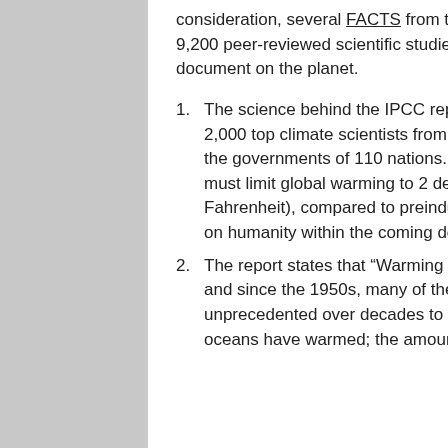consideration, several FACTS from the IPCC report, which is based on 9,200 peer-reviewed scientific studies, and arguably the most scrutinized document on the planet.
The science behind the IPCC report was developed by more than 2,000 top climate scientists from around the globe and scrutinized by the governments of 110 nations. It is unequivocal in its conclusion: We must limit global warming to 2 degrees Celsius (3.6 degrees Fahrenheit), compared to preindustrial levels, or face traumatic impact on humanity within the coming decades and beyond.
The report states that “Warming of the climate system is unequivocal, and since the 1950s, many of the observed changes are unprecedented over decades to millennia. The atmosphere and oceans have warmed; the amount of snow and ice